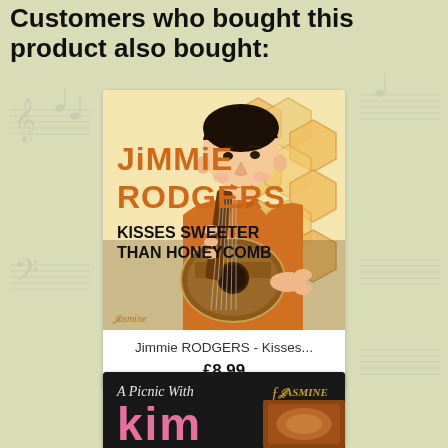Customers who bought this product also bought:
[Figure (illustration): Album cover: Jimmie Rodgers - Kisses Sweeter Than Honeycomb. Illustration of a young man playing acoustic guitar against a honeycomb/hexagon pattern background in orange and yellow. Text reads JIMMIE RODGERS KISSES SWEETER THAN HONEYCOMB. Jasmine Records logo at bottom left.]
Jimmie RODGERS - Kisses...
£8.99
[Figure (illustration): Partial album cover: A Picnic With Kim. Dark background with pink stylized text 'kim' and Jasmine Records logo visible at upper right.]